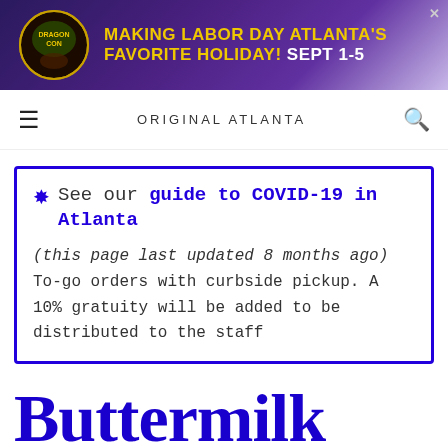[Figure (screenshot): Dragon Con advertisement banner: Making Labor Day Atlanta's Favorite Holiday! Sept 1-5]
ORIGINAL ATLANTA
See our guide to COVID-19 in Atlanta (this page last updated 8 months ago) To-go orders with curbside pickup. A 10% gratuity will be added to be distributed to the staff
Buttermilk Kit...